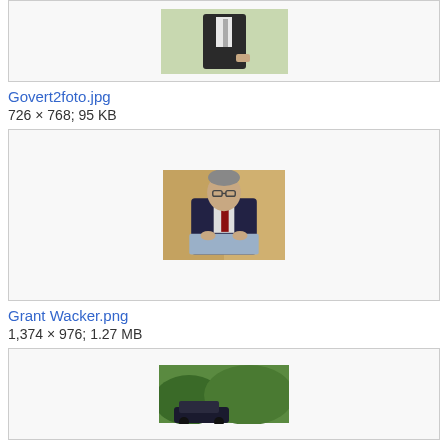[Figure (photo): Partial view of a person in a dark suit outdoors, partially cropped at top of page]
Govert2foto.jpg
726 × 768; 95 KB
[Figure (photo): Man with glasses in a dark suit speaking at a podium with a microphone, in front of a wooden panel background]
Grant Wacker.png
1,374 × 976; 1.27 MB
[Figure (photo): Outdoor scene with greenery and what appears to be a vehicle, partially visible at bottom of page]